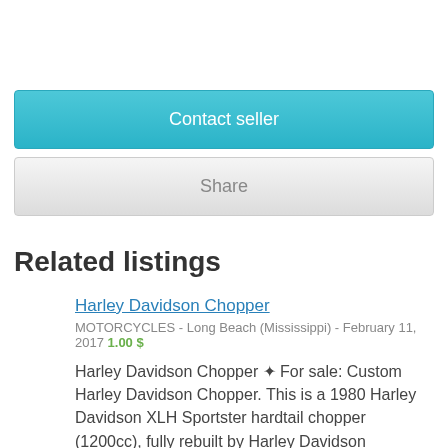Contact seller
Share
Related listings
Harley Davidson Chopper
MOTORCYCLES - Long Beach (Mississippi) - February 11, 2017 1.00 $
Harley Davidson Chopper ✦ For sale: Custom Harley Davidson Chopper. This is a 1980 Harley Davidson XLH Sportster hardtail chopper (1200cc), fully rebuilt by Harley Davidson specialist. 100% street legal. The final touches on this bike were done by In...